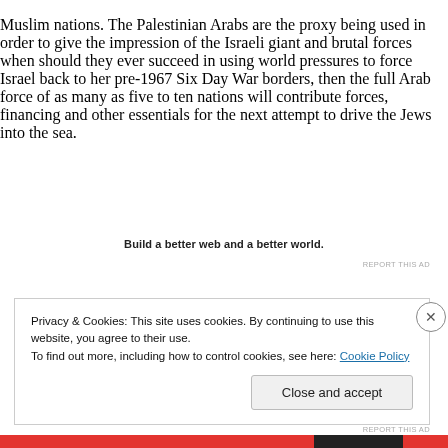Muslim nations. The Palestinian Arabs are the proxy being used in order to give the impression of the Israeli giant and brutal forces when should they ever succeed in using world pressures to force Israel back to her pre-1967 Six Day War borders, then the full Arab force of as many as five to ten nations will contribute forces, financing and other essentials for the next attempt to drive the Jews into the sea.
Build a better web and a better world.
REPORT THIS AD
Privacy & Cookies: This site uses cookies. By continuing to use this website, you agree to their use.
To find out more, including how to control cookies, see here: Cookie Policy
Close and accept